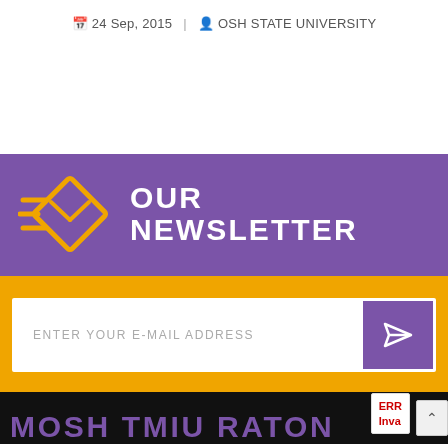24 Sep, 2015 | OSH STATE UNIVERSITY
[Figure (infographic): Purple newsletter banner with an orange flying envelope icon on the left and white bold text 'OUR NEWSLETTER' on the right]
ENTER YOUR E-MAIL ADDRESS
ERR Inva